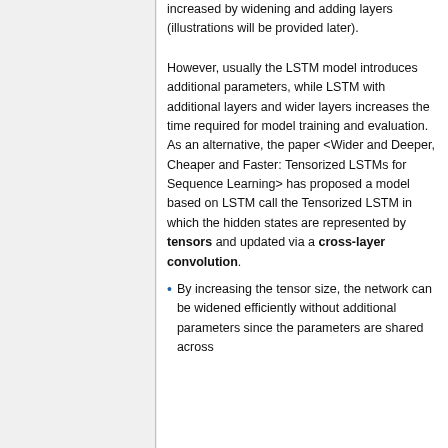increased by widening and adding layers (illustrations will be provided later).
However, usually the LSTM model introduces additional parameters, while LSTM with additional layers and wider layers increases the time required for model training and evaluation. As an alternative, the paper <Wider and Deeper, Cheaper and Faster: Tensorized LSTMs for Sequence Learning> has proposed a model based on LSTM call the Tensorized LSTM in which the hidden states are represented by tensors and updated via a cross-layer convolution.
By increasing the tensor size, the network can be widened efficiently without additional parameters since the parameters are shared across